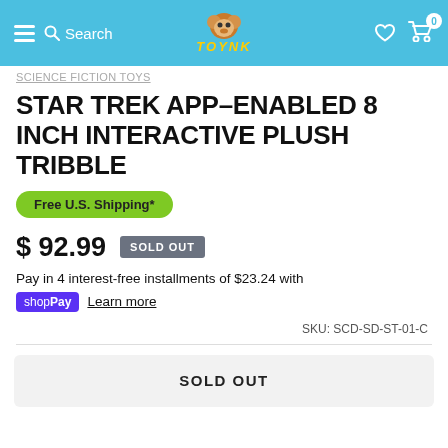TOYNK - Search, Wishlist, Cart (0)
SCIENCE FICTION TOYS
STAR TREK APP–ENABLED 8 INCH INTERACTIVE PLUSH TRIBBLE
Free U.S. Shipping*
$ 92.99  SOLD OUT
Pay in 4 interest-free installments of $23.24 with
shopPay Learn more
SKU: SCD-SD-ST-01-C
SOLD OUT